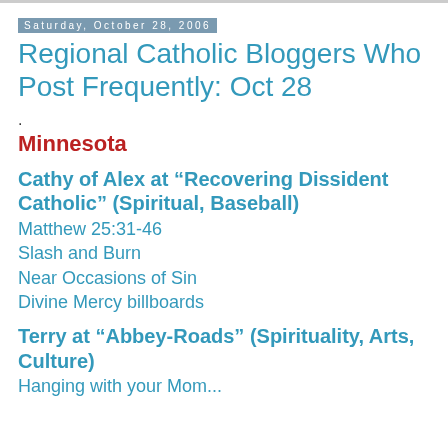Saturday, October 28, 2006
Regional Catholic Bloggers Who Post Frequently: Oct 28
.
Minnesota
Cathy of Alex at “Recovering Dissident Catholic” (Spiritual, Baseball)
Matthew 25:31-46
Slash and Burn
Near Occasions of Sin
Divine Mercy billboards
Terry at “Abbey-Roads” (Spirituality, Arts, Culture)
Hanging with your Mom...